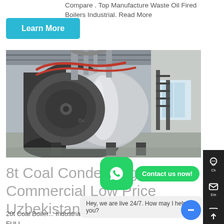Compare . Top Manufacture Waste Oil Fired Boilers Industrial. Read More
[Figure (screenshot): Button labeled 'Learn More' in teal/cyan color]
[Figure (photo): Industrial boiler in a factory setting — large cylindrical silver/metallic boiler with pipes and industrial equipment in the background]
8t Coal Condensing Commercial Low Price Uzbekistan
20t Coal Boiler ... Industrial Oil/Gas-Fired Steam Boiler Machine FULL